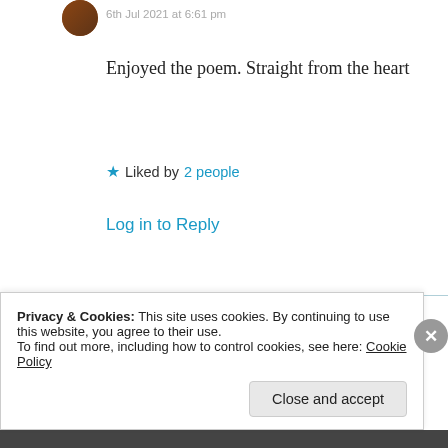6th Jul 2021 at 6:61 pm
Enjoyed the poem. Straight from the heart
★ Liked by 2 people
Log in to Reply
Suma Reddy
7th Jul 2021 at 2:27 am
Privacy & Cookies: This site uses cookies. By continuing to use this website, you agree to their use.
To find out more, including how to control cookies, see here: Cookie Policy
Close and accept